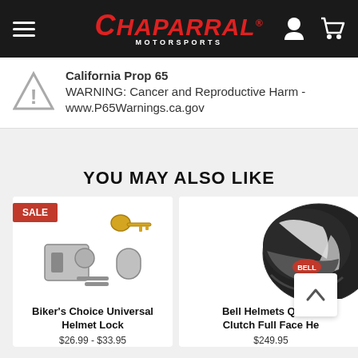[Figure (logo): Chaparral Motorsports website header with hamburger menu, red italic logo text, person icon, and cart icon on dark background]
California Prop 65
WARNING: Cancer and Reproductive Harm - www.P65Warnings.ca.gov
YOU MAY ALSO LIKE
[Figure (photo): Biker's Choice Universal Helmet Lock product photo showing chrome lock mechanism with keys]
Biker's Choice Universal Helmet Lock
$26.99 - $33.95
[Figure (photo): Bell Helmets Qualifier Clutch Full Face Helmet product photo showing black and white helmet]
Bell Helmets Qualifier Clutch Full Face He...
$249.95